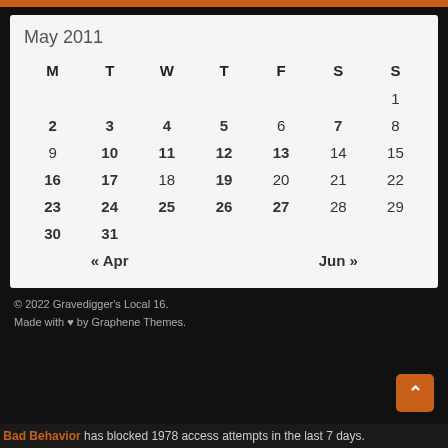May 2011
| M | T | W | T | F | S | S |
| --- | --- | --- | --- | --- | --- | --- |
|  |  |  |  |  |  | 1 |
| 2 | 3 | 4 | 5 | 6 | 7 | 8 |
| 9 | 10 | 11 | 12 | 13 | 14 | 15 |
| 16 | 17 | 18 | 19 | 20 | 21 | 22 |
| 23 | 24 | 25 | 26 | 27 | 28 | 29 |
| 30 | 31 |  |  |  |  |  |
© 2022 Gravedigger's Local 16. Made with ♥ by Graphene Themes.
Bad Behavior has blocked 1978 access attempts in the last 7 days.